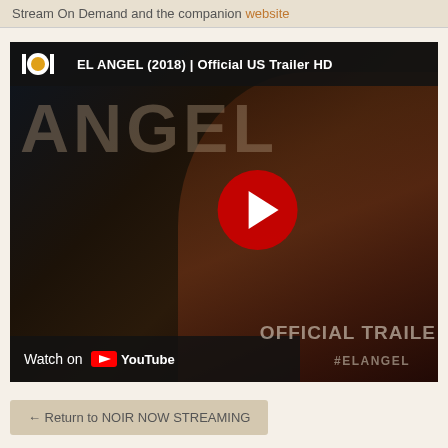Stream On Demand and the companion website
[Figure (screenshot): YouTube video thumbnail/embed for EL ANGEL (2018) | Official US Trailer HD. Shows a dark cinematic image with the word ANGEL in large letters, a young man smoking, a YouTube play button, 'Watch on YouTube' bar at bottom left, 'OFFICIAL TRAILER' and '#ELANGEL' text at bottom right. The video is from the 1091 channel.]
← Return to NOIR NOW STREAMING